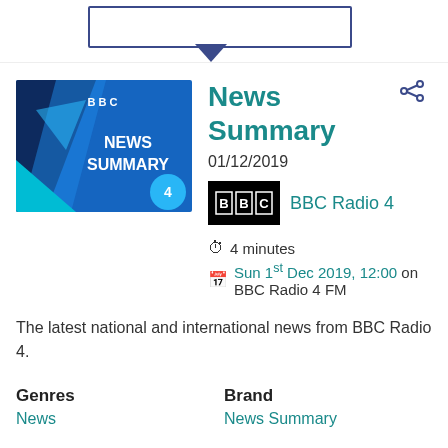[Figure (screenshot): Top portion of a webpage with a tooltip/dialog box with a dark blue border and a downward-pointing arrow, partially visible at the top of the page.]
[Figure (photo): BBC News Summary program thumbnail image. Blue background with 'BBC' logo at top and 'NEWS SUMMARY' text in white. Radio 4 circle logo in bottom right corner. Dark navy geometric shape on left.]
News Summary
01/12/2019
[Figure (logo): BBC logo (black background, white BBC text with dots) followed by 'BBC Radio 4' label in teal]
4 minutes
Sun 1st Dec 2019, 12:00 on BBC Radio 4 FM
The latest national and international news from BBC Radio 4.
Genres
Brand
News
News Summary